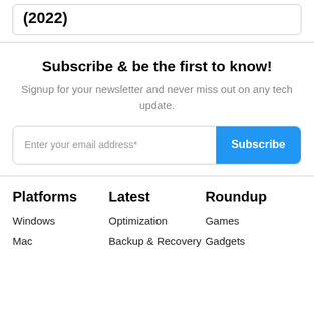(2022)
Subscribe & be the first to know!
Signup for your newsletter and never miss out on any tech update.
Enter your email address*
Subscribe
Platforms
Latest
Roundup
Windows
Mac
Optimization
Backup & Recovery
Games
Gadgets